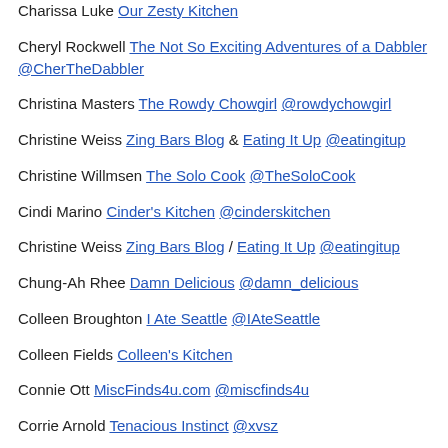Charissa Luke Our Zesty Kitchen
Cheryl Rockwell The Not So Exciting Adventures of a Dabbler @CherTheDabbler
Christina Masters The Rowdy Chowgirl @rowdychowgirl
Christine Weiss Zing Bars Blog & Eating It Up @eatingitup
Christine Willmsen The Solo Cook @TheSoloCook
Cindi Marino Cinder's Kitchen @cinderskitchen
Christine Weiss Zing Bars Blog / Eating It Up @eatingitup
Chung-Ah Rhee Damn Delicious @damn_delicious
Colleen Broughton I Ate Seattle @IAteSeattle
Colleen Fields Colleen's Kitchen
Connie Ott MiscFinds4u.com @miscfinds4u
Corrie Arnold Tenacious Instinct @xvsz